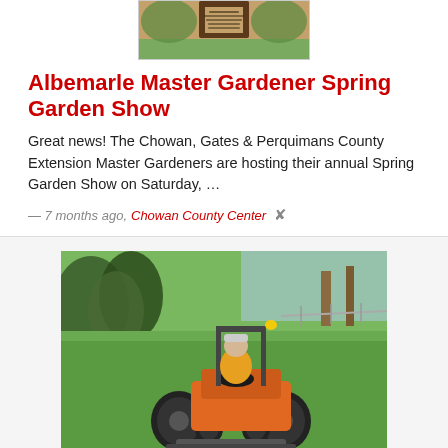[Figure (photo): Thumbnail image of a flyer or poster, brown/tan coloring with some green at the bottom, small text visible]
Albemarle Master Gardener Spring Garden Show
Great news! The Chowan, Gates & Perquimans County Extension Master Gardeners are hosting their annual Spring Garden Show on Saturday, …
— 7 months ago, Chowan County Center ↗
[Figure (photo): Photo of a person riding an orange tractor/lawn mower on a green grass field, viewed from behind, with trees and a fence in the background]